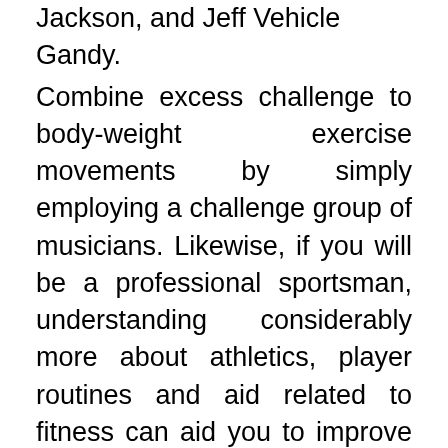Jackson, and Jeff Vehicle Gandy. Combine excess challenge to body-weight exercise movements by simply employing a challenge group of musicians. Likewise, if you will be a professional sportsman, understanding considerably more about athletics, player routines and aid related to fitness can aid you to improve simply because a sportsman. The department announced its fall selection today, with FIFA 11 and EA Sports activities MMA rounding out the sports titles for iPhone (and iPod Contact) in Oct. Power training makes the physique to engage the total of the muscle groups involved inside the exercising to complete the replication.